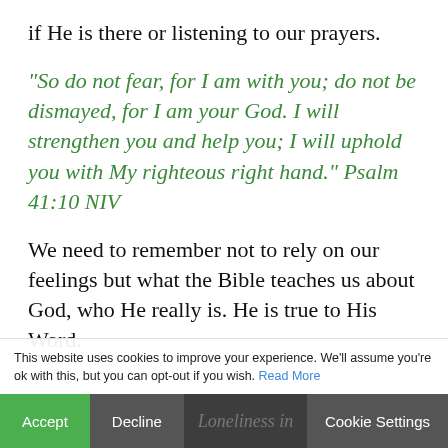if He is there or listening to our prayers.
“So do not fear, for I am with you; do not be dismayed, for I am your God. I will strengthen you and help you; I will uphold you with My righteous right hand.” Psalm 41:10 NIV
We need to remember not to rely on our feelings but what the Bible teaches us about God, who He really is. He is true to His Word.
This website uses cookies to improve your experience. We'll assume you're ok with this, but you can opt-out if you wish. Read More
Accept | Decline | Loneliness in | Cookie Settings